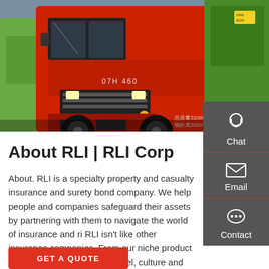[Figure (photo): Photograph of large red and green commercial trucks/lorries parked side by side, with Chinese text visible on the truck cab.]
About RLI | RLI Corp
About. RLI is a specialty property and casualty insurance and surety bond company. We help people and companies safeguard their assets by partnering with them to navigate the world of insurance and ri RLI isn't like other insurance companies. From our niche product offerings to our business model, culture and results – we're different.